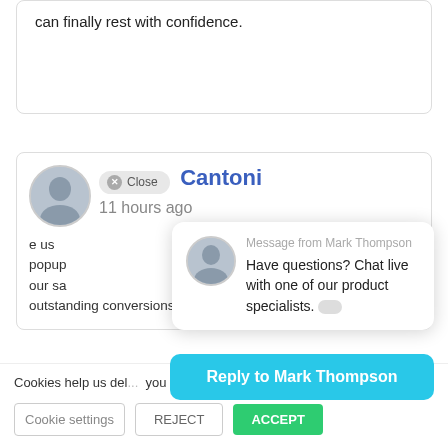can finally rest with confidence.
[Figure (screenshot): A review card showing partial text and a user avatar with name 'Cantoni' in blue, a 'Close' badge, '11 hours ago' text, and partial body text about popups and conversions.]
[Figure (screenshot): A live chat popup from 'Mark Thompson' saying 'Have questions? Chat live with one of our product specialists.' with a reply button 'Reply to Mark Thompson'.]
Cookies help us del... you agree to our use of cookies. Read More
Cookie settings
REJECT
ACCEPT